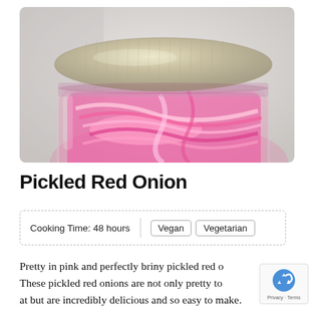[Figure (photo): Close-up photo of a glass mason jar with a silver screw-top lid, filled with bright pink pickled red onions, on a light gray background]
Pickled Red Onion
Cooking Time: 48 hours   Vegan   Vegetarian
Pretty in pink and perfectly briny pickled red o... These pickled red onions are not only pretty to ... at but are incredibly delicious and so easy to make.